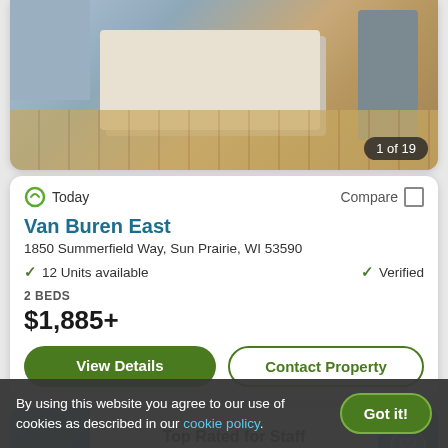[Figure (photo): Kitchen interior photo showing a white island counter with wood floors and stainless steel refrigerator. Image counter shows '1 of 19'.]
Today
Compare
Van Buren East
1850 Summerfield Way, Sun Prairie, WI 53590
12 Units available
Verified
2 BEDS
$1,885+
View Details
Contact Property
Top Rated for Staff
By using this website you agree to our use of cookies as described in our cookie policy.
Got it!